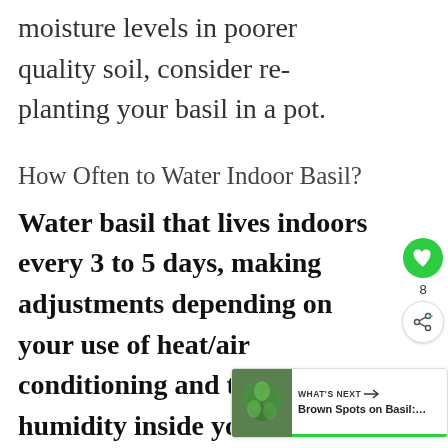moisture levels in poorer quality soil, consider re-planting your basil in a pot.
How Often to Water Indoor Basil?
Water basil that lives indoors every 3 to 5 days, making adjustments depending on your use of heat/air conditioning and the humidity inside your ho… pot size, and placement of the…